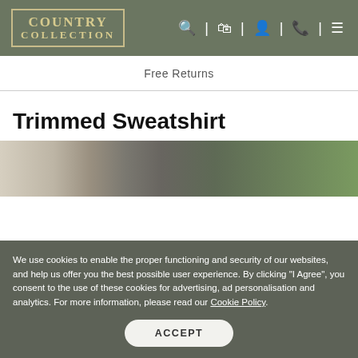COUNTRY COLLECTION
Free Returns
Trimmed Sweatshirt
[Figure (photo): Partial photo of older woman with grey hair outdoors near green foliage]
We use cookies to enable the proper functioning and security of our websites, and help us offer you the best possible user experience. By clicking "I Agree", you consent to the use of these cookies for advertising, ad personalisation and analytics. For more information, please read our Cookie Policy.
ACCEPT